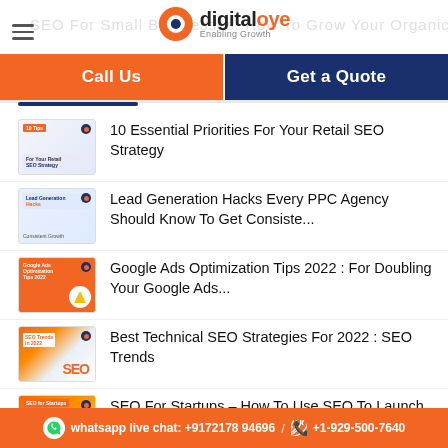digitaloye - Enabling Growth
Call Us | Get a Quote
10 Essential Priorities For Your Retail SEO Strategy
Lead Generation Hacks Every PPC Agency Should Know To Get Consiste...
Google Ads Optimization Tips 2022 : For Doubling Your Google Ads...
Best Technical SEO Strategies For 2022 : SEO Trends
SEO For Startups – How To Use SEO To Launch Your Startup?
whatsapp live chat: +9172178 94696 / +1-929-500-7640